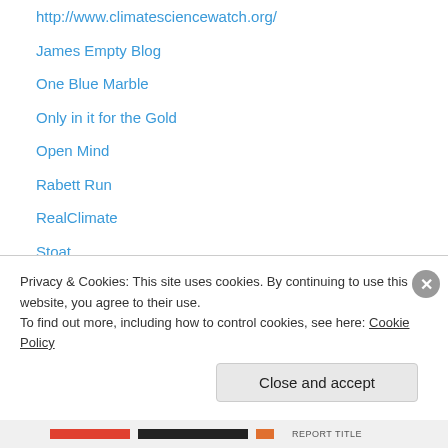http://www.climatesciencewatch.org/
James Empty Blog
One Blue Marble
Only in it for the Gold
Open Mind
Rabett Run
RealClimate
Stoat
Things Break
SourceWatch articles
Fraser Institute
Privacy & Cookies: This site uses cookies. By continuing to use this website, you agree to their use.
To find out more, including how to control cookies, see here: Cookie Policy
Close and accept